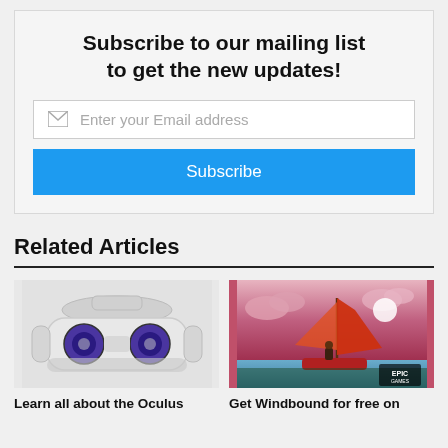Subscribe to our mailing list to get the new updates!
Enter your Email address
Subscribe
Related Articles
[Figure (photo): Oculus Quest 2 VR headset on white/gray background]
[Figure (illustration): Windbound game art - character on red sailboat with orange sail, purple/pink sky with sun and clouds, Epic Games logo visible]
Learn all about the Oculus
Get Windbound for free on